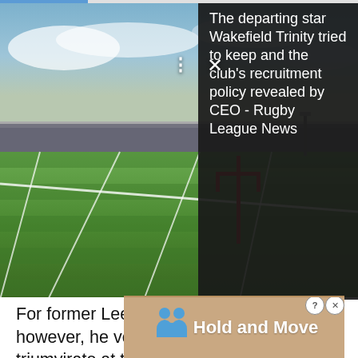[Figure (photo): Rugby stadium field photo, green grass pitch with white line markings, red goal post, crowd and stands visible, cloudy sky background]
The departing star Wakefield Trinity tried to keep and the club's recruitment policy revealed by CEO - Rugby League News
For former Leeds prop Barrie McDermott, however, he very much wants an England triumvirate at the helm.
You don't need to reinvent the wheel, but what you can do is maybe bring that forward into the people who are at the club now," McDermott told Sky Sports.
"Jonesy is a cultural architect. If you brought in Danny [embra...] ...head
[Figure (screenshot): Hold and Move game advertisement banner with two blue figure icons]